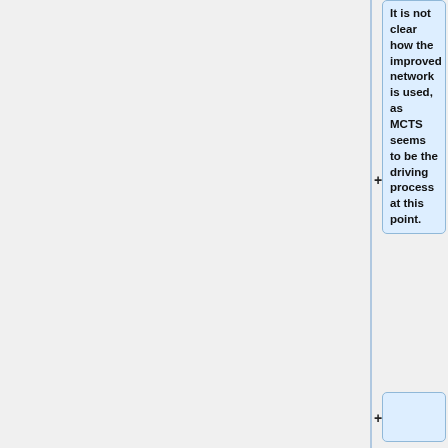It is not clear how the improved network is used, as MCTS seems to be the driving process at this point.
== Long-Term Strategy Learning ==
Finally, the authors implement a new strategy to augment their algorithm for long-term play.